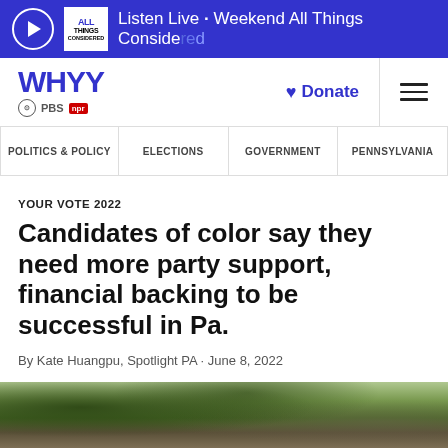Listen Live • Weekend All Things Considered
WHYY PBS NPR | Donate
POLITICS & POLICY | ELECTIONS | GOVERNMENT | PENNSYLVANIA
YOUR VOTE 2022
Candidates of color say they need more party support, financial backing to be successful in Pa.
By Kate Huangpu, Spotlight PA · June 8, 2022
[Figure (photo): Outdoor photo showing trees and a building, partially visible at bottom of page]